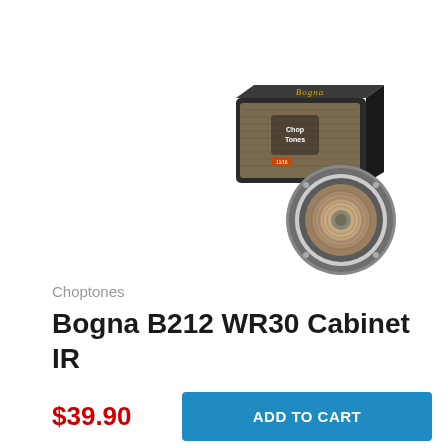[Figure (photo): 3D render of a Bogna B212 guitar cabinet speaker box with a detached speaker driver in front, branded with Choptones and Bogna logos]
Choptones
Bogna B212 WR30 Cabinet IR
$39.90
ADD TO CART